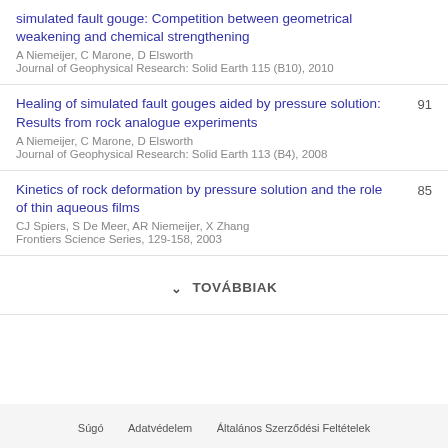simulated fault gouge: Competition between geometrical weakening and chemical strengthening
A Niemeijer, C Marone, D Elsworth
Journal of Geophysical Research: Solid Earth 115 (B10), 2010
Healing of simulated fault gouges aided by pressure solution: Results from rock analogue experiments
91
A Niemeijer, C Marone, D Elsworth
Journal of Geophysical Research: Solid Earth 113 (B4), 2008
Kinetics of rock deformation by pressure solution and the role of thin aqueous films
85
CJ Spiers, S De Meer, AR Niemeijer, X Zhang
Frontiers Science Series, 129-158, 2003
TOVÁBBIAK
Súgó   Adatvédelem   Általános Szerződési Feltételek